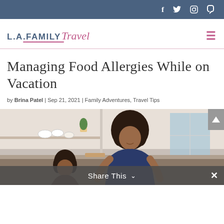f  Twitter  Instagram  Pinterest (social icons)
[Figure (logo): L.A.FAMILY Travel logo with pink cursive Travel text and underline, hamburger menu icon on right]
Managing Food Allergies While on Vacation
by Brina Patel | Sep 21, 2021 | Family Adventures, Travel Tips
[Figure (photo): Woman with curly hair in blue shirt cooking or preparing food in a kitchen, with a child beside her. Kitchen shelves with bowls and plants in background.]
Share This ∨  ×